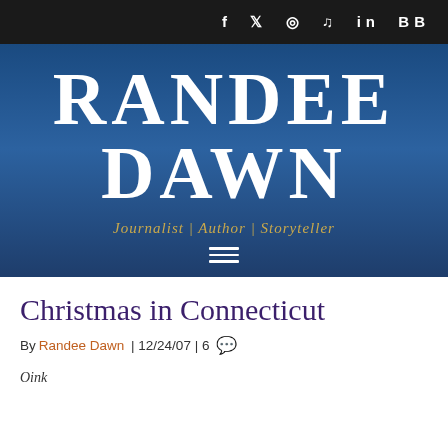f  ⊕  ★  ♪  in  BB
[Figure (logo): Randee Dawn website logo banner — dark blue gradient background with large white serif text 'RANDEE DAWN' and gold italic subtitle 'Journalist | Author | Storyteller', with a hamburger menu icon below]
Christmas in Connecticut
By Randee Dawn | 12/24/07 | 6 💬
Oink